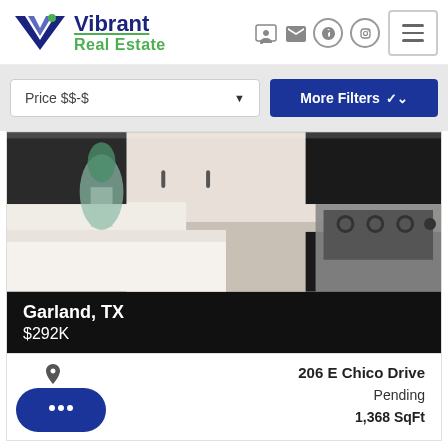[Figure (logo): Vibrant Real Estate logo with purple V chevron and green dot]
Vibrant Real Estate
[Figure (screenshot): Price $$-$ dropdown filter and More Filters button in a grey filter bar]
[Figure (photo): Kitchen interior photo showing white countertops, a glass vase with greenery, dark cabinets, and a stainless steel stove with tile backsplash]
Garland, TX
$292K
206 E Chico Drive
Pending
1,368 SqFt
Size